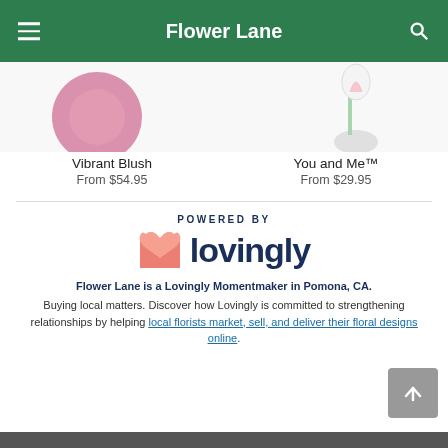Flower Lane
Vibrant Blush
From $54.95
You and Me™
From $29.95
[Figure (logo): POWERED BY lovingly logo with pink heart/envelope icon and dark blue wordmark]
Flower Lane is a Lovingly Momentmaker in Pomona, CA.
Buying local matters. Discover how Lovingly is committed to strengthening relationships by helping local florists market, sell, and deliver their floral designs online.